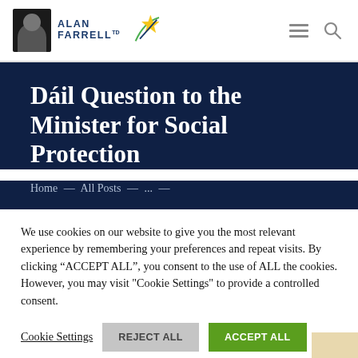Alan Farrell TD — Navigation header with logo, hamburger menu, and search icon
Dáil Question to the Minister for Social Protection
Home — All Posts — ... —
We use cookies on our website to give you the most relevant experience by remembering your preferences and repeat visits. By clicking "ACCEPT ALL", you consent to the use of ALL the cookies. However, you may visit "Cookie Settings" to provide a controlled consent.
Cookie Settings | REJECT ALL | ACCEPT ALL